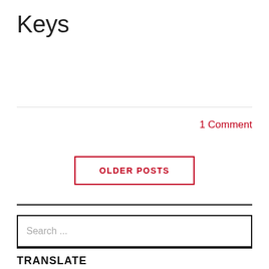Keys
1 Comment
OLDER POSTS
Search ...
TRANSLATE